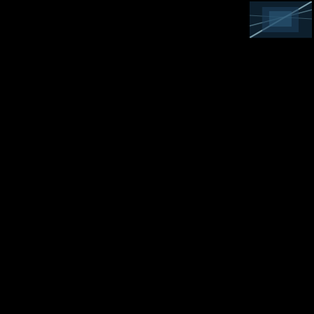[Figure (photo): Small avatar/thumbnail image with blue-teal tones, partially visible at top]
indeed. Does anyone know if Fair Use includes Midi patterns´ rex84pro did this a while back. http://ww
The dev tree is here for the tracks: http://ww
JFC
Posted by: Jfculhane | August 21,